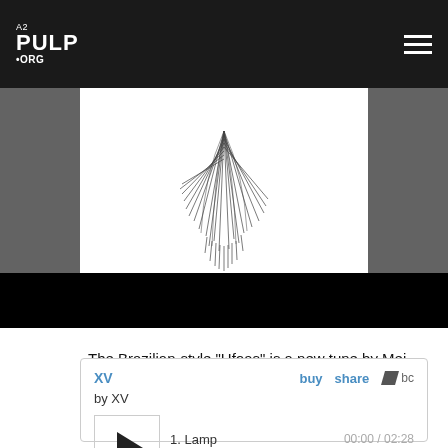A2 PULP ORG
[Figure (illustration): Album art banner showing a dark abstract line drawing on white background, flanked by dark gray side panels, with a black bar at the bottom.]
The Brazilian-style "Hfoas" is a new tune by Mei Semones, a guitarist and singer who graduated from Community High School and now studies at Berklee College of Music.
XV
by XV
1. Lamp
00:00 / 02:28
buy  share  bc